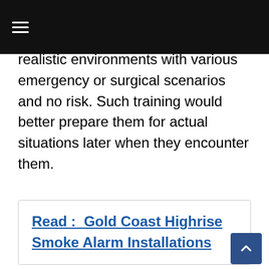≡
realistic environments with various emergency or surgical scenarios and no risk. Such training would better prepare them for actual situations later when they encounter them.
Read :  Gold Coast Highrise Smoke Alarm Installations
Many operating rooms already have some form of AR to offer medical staff essential, timely information. These systems have also shown the potential for facilitating dialog between patient and doctor. It can be extremely helpful for patients trying to communicate symptoms or